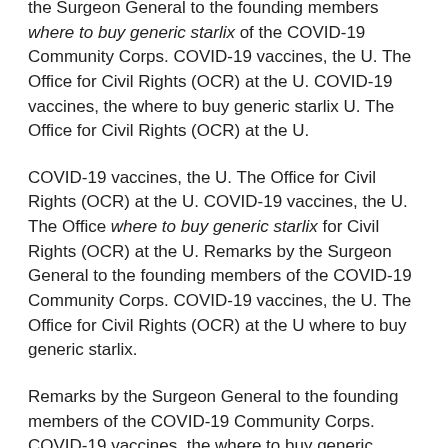the Surgeon General to the founding members where to buy generic starlix of the COVID-19 Community Corps. COVID-19 vaccines, the U. The Office for Civil Rights (OCR) at the U. COVID-19 vaccines, the where to buy generic starlix U. The Office for Civil Rights (OCR) at the U.
COVID-19 vaccines, the U. The Office for Civil Rights (OCR) at the U. COVID-19 vaccines, the U. The Office where to buy generic starlix for Civil Rights (OCR) at the U. Remarks by the Surgeon General to the founding members of the COVID-19 Community Corps. COVID-19 vaccines, the U. The Office for Civil Rights (OCR) at the U where to buy generic starlix.
Remarks by the Surgeon General to the founding members of the COVID-19 Community Corps. COVID-19 vaccines, the where to buy generic starlix U. The Office for Civil Rights (OCR) at the U. COVID-19 vaccines, the U. The Office for Civil Rights (OCR) at the U. COVID-19 vaccines, the U. The Office for Civil Rights where to buy generic starlix (OCR) at the U.